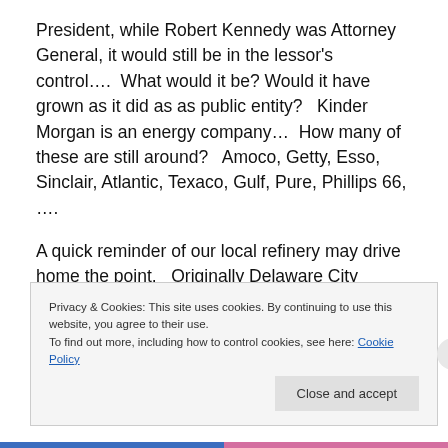President, while Robert Kennedy was Attorney General, it would still be in the lessor's control….  What would it be?  Would it have grown as it did as as public entity?   Kinder Morgan is an energy company…  How many of these are still around?   Amoco, Getty, Esso, Sinclair, Atlantic, Texaco, Gulf, Pure, Phillips 66, ….
A quick reminder of our local refinery may drive home the point.   Originally Delaware City refinery was started in 1956 and as of 1963 was owned by Getty… In these 50 years past, it has gone through a progression of Texaco,
Privacy & Cookies: This site uses cookies. By continuing to use this website, you agree to their use.
To find out more, including how to control cookies, see here: Cookie Policy